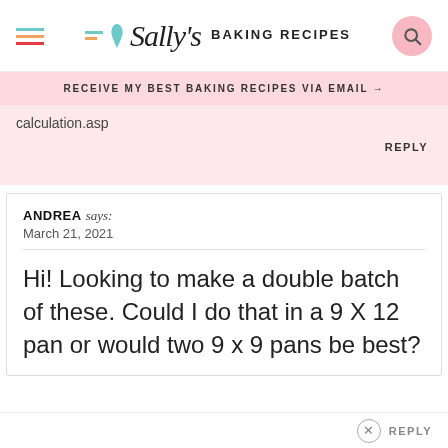[Figure (logo): Sally's Baking Recipes logo with hamburger menu and search button]
RECEIVE MY BEST BAKING RECIPES VIA EMAIL →
calculation.asp
REPLY
ANDREA says: March 21, 2021
Hi! Looking to make a double batch of these. Could I do that in a 9 X 12 pan or would two 9 x 9 pans be best?
REPLY